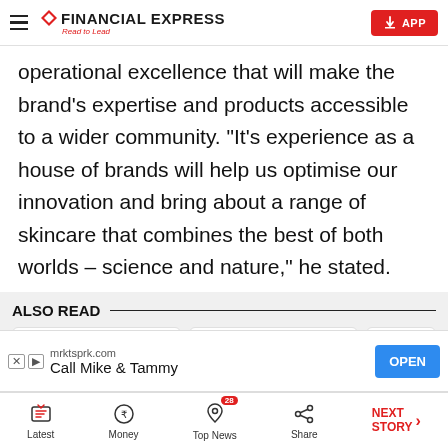FINANCIAL EXPRESS — Read to Lead | APP
operational excellence that will make the brand's expertise and products accessible to a wider community. “It’s experience as a house of brands will help us optimise our innovation and bring about a range of skincare that combines the best of both worlds – science and nature,” he stated.
ALSO READ
[Figure (other): Three card thumbnails in the Also Read section, mostly blank/white with rounded corners]
[Figure (other): Advertisement banner: mrktsprk.com — Call Mike & Tammy — OPEN button]
Latest | Money | Top News (28) | Share | NEXT STORY